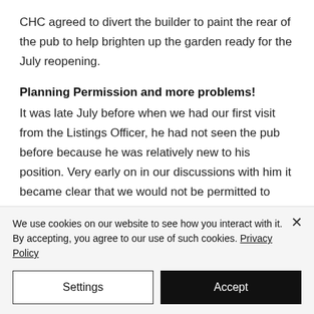CHC agreed to divert the builder to paint the rear of the pub to help brighten up the garden ready for the July reopening.
Planning Permission and more problems!
It was late July before when we had our first visit from the Listings Officer, he had not seen the pub before because he was relatively new to his position. Very early on in our discussions with him it became clear that we would not be permitted to
We use cookies on our website to see how you interact with it. By accepting, you agree to our use of such cookies. Privacy Policy